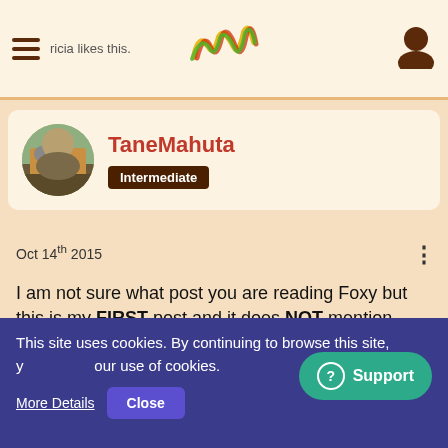ricia likes this.
TaneMahuta
Intermediate
Oct 14th 2015
I am not sure what post you are reading Foxy but this is my FIRST post and it does NOT mention anything about punishments
Quote from TaneMahuta
On global chat on the Chichen Itza server one player is telling
This site uses cookies. By continuing to browse this site, you agree to our use of cookies.
More Details  Close